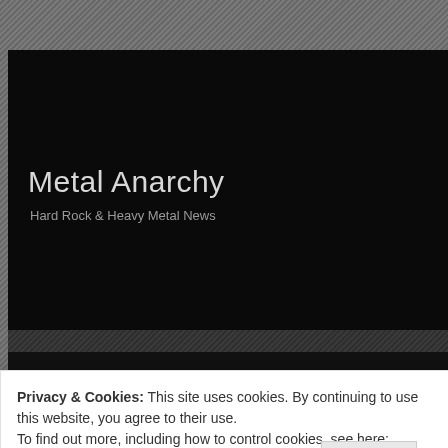Metal Anarchy
Hard Rock & Heavy Metal News
Category Archives: It Lies Within
Privacy & Cookies: This site uses cookies. By continuing to use this website, you agree to their use.
To find out more, including how to control cookies, see here: Cookie Policy
Close and accept